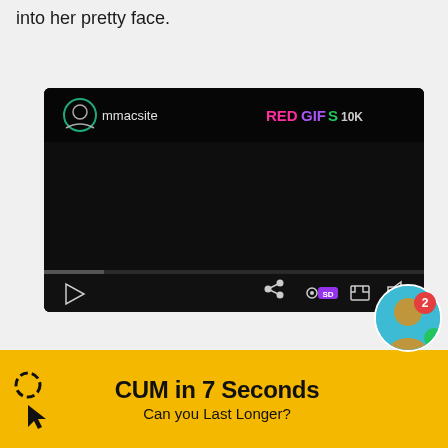into her pretty face.
[Figure (screenshot): A REDGIFS video player embed showing user 'mmacsite' with REDGIFS 10K branding, dark background player with play, share, settings (SD), fullscreen, and mute controls.]
[Figure (infographic): Yellow advertisement banner reading 'CUM in 7 Seconds / Can you Last Longer?' with a cursor/click icon on the left and a circular avatar image with red badge showing '2' on the right.]